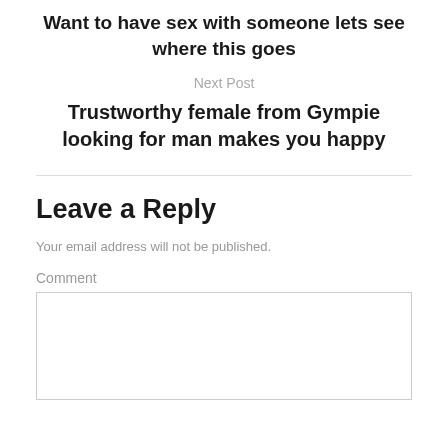Want to have sex with someone lets see where this goes
Next Post
Trustworthy female from Gympie looking for man makes you happy
Leave a Reply
Your email address will not be published.
Comment